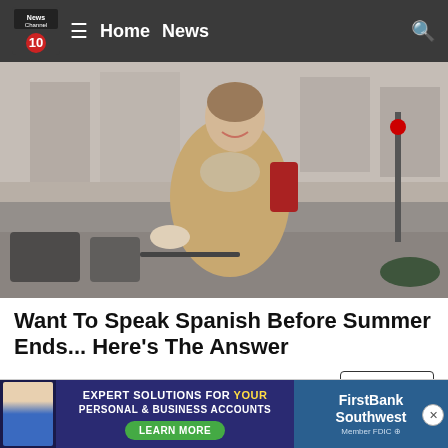News Channel 10 — Home  News
[Figure (photo): Woman smiling on a bicycle on a city street, wearing a tan coat and scarf with a red bag, urban background]
Want To Speak Spanish Before Summer Ends... Here's The Answer
Babbel | Sponsored
[Figure (photo): Partial view of a second article image showing a person, partially visible at bottom of page]
[Figure (infographic): Advertisement banner: Expert Solutions for Your Personal & Business Accounts — Learn More — FirstBank Southwest]